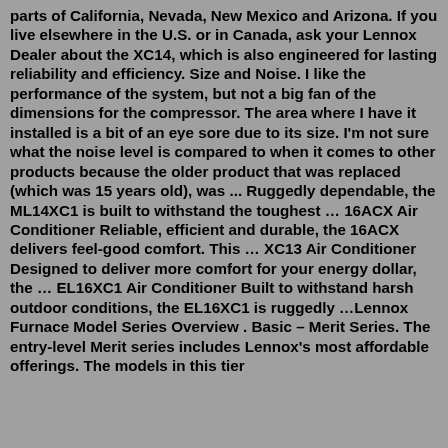parts of California, Nevada, New Mexico and Arizona. If you live elsewhere in the U.S. or in Canada, ask your Lennox Dealer about the XC14, which is also engineered for lasting reliability and efficiency. Size and Noise. I like the performance of the system, but not a big fan of the dimensions for the compressor. The area where I have it installed is a bit of an eye sore due to its size. I'm not sure what the noise level is compared to when it comes to other products because the older product that was replaced (which was 15 years old), was ... Ruggedly dependable, the ML14XC1 is built to withstand the toughest … 16ACX Air Conditioner Reliable, efficient and durable, the 16ACX delivers feel-good comfort. This … XC13 Air Conditioner Designed to deliver more comfort for your energy dollar, the … EL16XC1 Air Conditioner Built to withstand harsh outdoor conditions, the EL16XC1 is ruggedly …Lennox Furnace Model Series Overview . Basic – Merit Series. The entry-level Merit series includes Lennox's most affordable offerings. The models in this tier